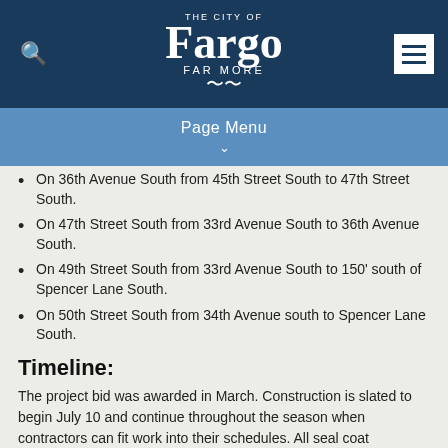THE CITY OF Fargo FAR MORE — Page Menu
On 36th Avenue South from 45th Street South to 47th Street South.
On 47th Street South from 33rd Avenue South to 36th Avenue South.
On 49th Street South from 33rd Avenue South to 150' south of Spencer Lane South.
On 50th Street South from 34th Avenue south to Spencer Lane South.
Timeline:
The project bid was awarded in March. Construction is slated to begin July 10 and continue throughout the season when contractors can fit work into their schedules. All seal coat improvements should be complete by fall.
Recent Updates